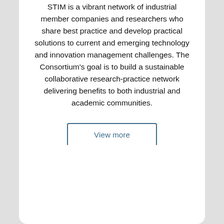STIM is a vibrant network of industrial member companies and researchers who share best practice and develop practical solutions to current and emerging technology and innovation management challenges. The Consortium's goal is to build a sustainable collaborative research-practice network delivering benefits to both industrial and academic communities.
View more